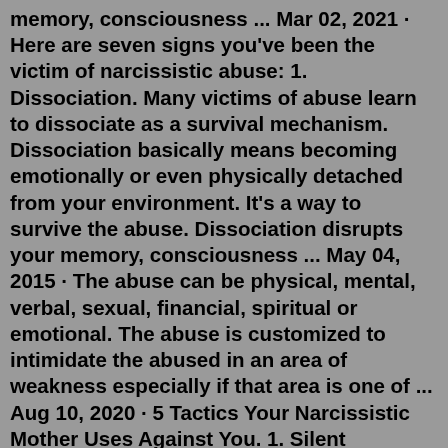memory, consciousness ... Mar 02, 2021 · Here are seven signs you've been the victim of narcissistic abuse: 1. Dissociation. Many victims of abuse learn to dissociate as a survival mechanism. Dissociation basically means becoming emotionally or even physically detached from your environment. It's a way to survive the abuse. Dissociation disrupts your memory, consciousness ... May 04, 2015 · The abuse can be physical, mental, verbal, sexual, financial, spiritual or emotional. The abuse is customized to intimidate the abused in an area of weakness especially if that area is one of ... Aug 10, 2020 · 5 Tactics Your Narcissistic Mother Uses Against You. 1. Silent Treatment. The silent treatment is an adult tantrum. Just like a toddler who throws a fit when she doesn't get what she wants, a narcissistic mother gives you the silent treatment in an attempt to control you. It's also a form of punishment. May 16, 2020 · 1. Don't Let Your Narcissistic Mother Walk All Over You. As you've grown up under her care, you know how difficult it can be to deal with a narcissistic mother. The...